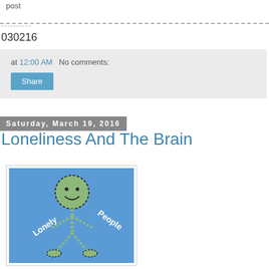post
----------
030216
at 12:00 AM   No comments:
Share
Saturday, March 19, 2016
Loneliness And The Brain
[Figure (illustration): Stick figure illustration of a green smiling character on a blue background with text 'Lonely People' written on it]